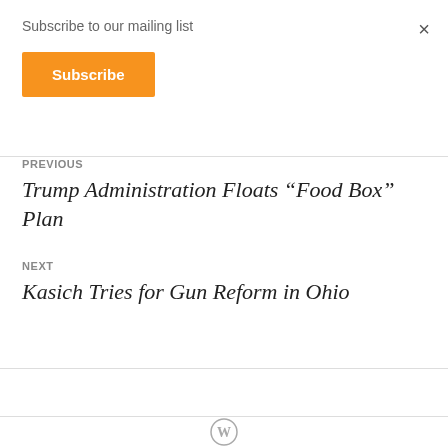Subscribe to our mailing list
Subscribe
×
PREVIOUS
Trump Administration Floats “Food Box” Plan
NEXT
Kasich Tries for Gun Reform in Ohio
[Figure (logo): WordPress logo]